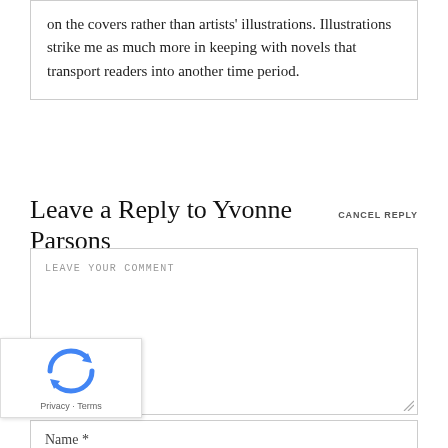on the covers rather than artists' illustrations. Illustrations strike me as much more in keeping with novels that transport readers into another time period.
Leave a Reply to Yvonne Parsons CANCEL REPLY
LEAVE YOUR COMMENT
Name *